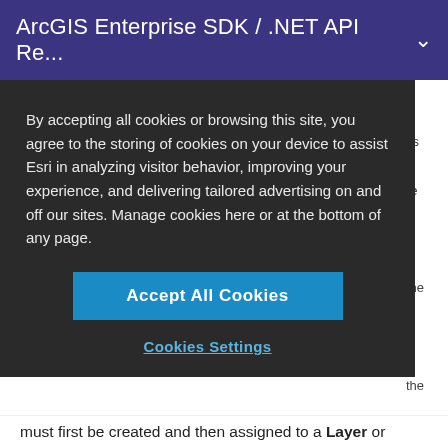ArcGIS Enterprise SDK / .NET API Re...
Remarks
By accepting all cookies or browsing this site, you agree to the storing of cookies on your device to assist Esri in analyzing visitor behavior, improving your experience, and delivering tailored advertising on and off our sites. Manage cookies here or at the bottom of any page.
Accept All Cookies
Cookies Settings
must first be created and then assigned to a Layer or